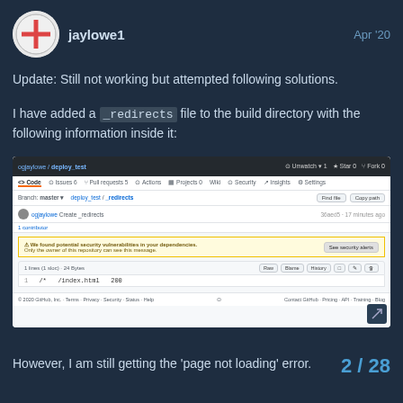jaylowe1   Apr '20
Update: Still not working but attempted following solutions.
I have added a _redirects file to the build directory with the following information inside it:
[Figure (screenshot): GitHub repository page showing ogjaylowe/deploy_test with a _redirects file open. Shows a security vulnerability warning banner and a code view with 1 line (1 sloc) 24 Bytes showing: /* /index.html 200]
However, I am still getting the 'page not loading' error.
I am using the default publish directory of b
2 / 28